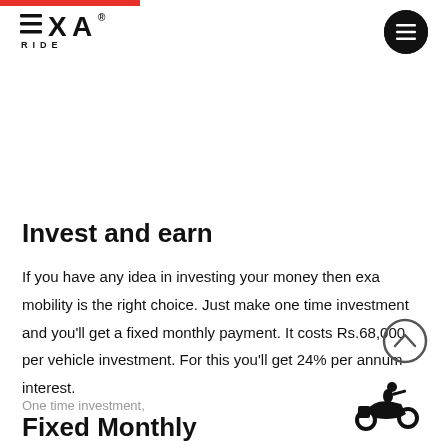[Figure (logo): EXA RIDE logo — three horizontal lines followed by EXA in bold, with RIDE in spaced letters below]
[Figure (other): Hamburger menu icon inside a black circle]
Invest and earn
If you have any idea in investing your money then exa mobility is the right choice. Just make one time investment and you'll get a fixed monthly payment. It costs Rs.68,000 per vehicle investment. For this you'll get 24% per annum interest.
One time investment,
Fixed Monthly
[Figure (illustration): Silhouette of a person riding a scooter/motorcycle, black on white]
[Figure (other): Upward chevron arrow inside a circle, scroll-to-top button]